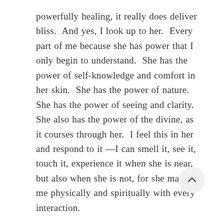powerfully healing, it really does deliver bliss.  And yes, I look up to her.  Every part of me because she has power that I only begin to understand.  She has the power of self-knowledge and comfort in her skin.  She has the power of nature.  She has the power of seeing and clarity.  She also has the power of the divine, as it courses through her.  I feel this in her and respond to it —I can smell it, see it, touch it, experience it when she is near, but also when she is not, for she marks me physically and spiritually with every interaction.
And yes, there is sexual ecstasy too.  But not in the way that might imply.  I cannot deny the intense arousal that Mistress inspires.  I love it, and I love that she encourages it and welcomes it.  As she says, it is flattering.  Indeed, my body compliments her in this way a great deal.  But I also love that this feeling is chaste—on the one hand it might be considered a form of tease